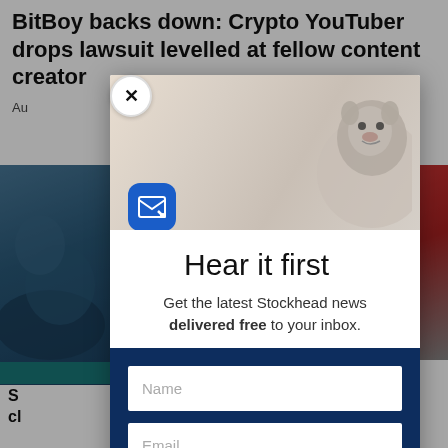BitBoy backs down: Crypto YouTuber drops lawsuit levelled at fellow content creator
Au
[Figure (screenshot): Background images of a seal/sea lion on the left and a red/grey blurred image on the right]
Hear it first
Get the latest Stockhead news delivered free to your inbox.
Name (input field placeholder)
Email (input field placeholder)
SIGN ME UP